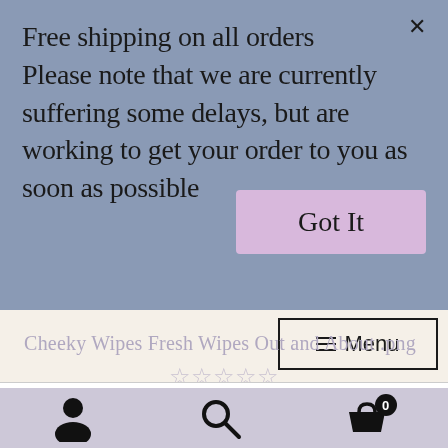Free shipping on all orders
Please note that we are currently suffering some delays, but are working to get your order to you as soon as possible
X
Got It
Cheeky Wipes Fresh Wipes Out and About .png
☆☆☆☆☆
≡  Menu
Add to basket
[Figure (screenshot): Bottom navigation bar with user account icon, search icon, and basket/cart icon with badge showing 0]